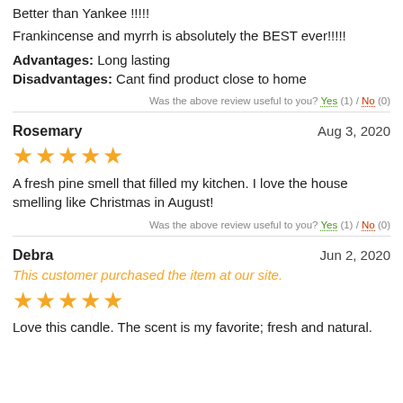Better than Yankee !!!!!
Frankincense and myrrh is absolutely the BEST ever!!!!!
Advantages: Long lasting
Disadvantages: Cant find product close to home
Was the above review useful to you? Yes (1) / No (0)
Rosemary    Aug 3, 2020
★★★★★
A fresh pine smell that filled my kitchen. I love the house smelling like Christmas in August!
Was the above review useful to you? Yes (1) / No (0)
Debra    Jun 2, 2020
This customer purchased the item at our site.
★★★★★
Love this candle. The scent is my favorite; fresh and natural.